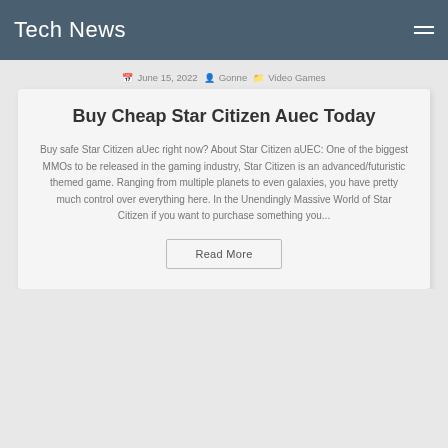Tech News
June 15, 2022  Gonne  Video Games
Buy Cheap Star Citizen Auec Today
Buy safe Star Citizen aUec right now? About Star Citizen aUEC: One of the biggest MMOs to be released in the gaming industry, Star Citizen is an advanced/futuristic themed game. Ranging from multiple planets to even galaxies, you have pretty much control over everything here. In the Unendingly Massive World of Star Citizen if you want to purchase something you...
Read More